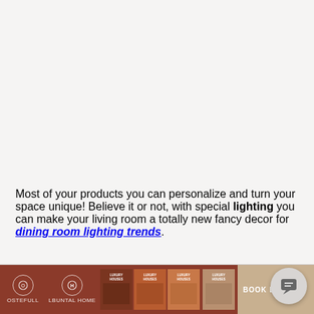Most of your products you can personalize and turn your space unique! Believe it or not, with special lighting you can make your living room a totally new fancy decor for dining room lighting trends.
[Figure (screenshot): Website footer bar with terracotta/brown background showing brand logos (Ostefull, Lbuntal Home), multiple Luxury Houses book cover thumbnails in varying shades of brown/terracotta, and a 'BOOK LU' text (truncated). A chat/message bubble icon is overlaid in the bottom right corner.]